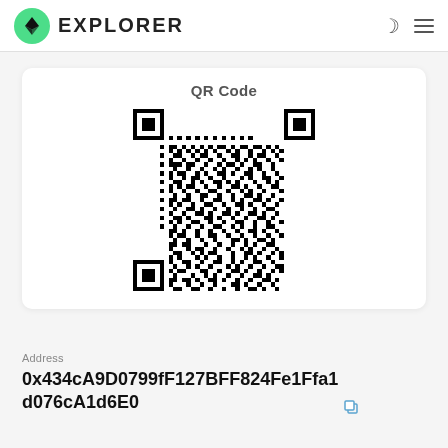EXPLORER
QR Code
[Figure (other): QR code for Ethereum address 0x434cA9D0799fF127BFF824Fe1Ffa1d076cA1d6E0]
Address
0x434cA9D0799fF127BFF824Fe1Ffa1d076cA1d6E0